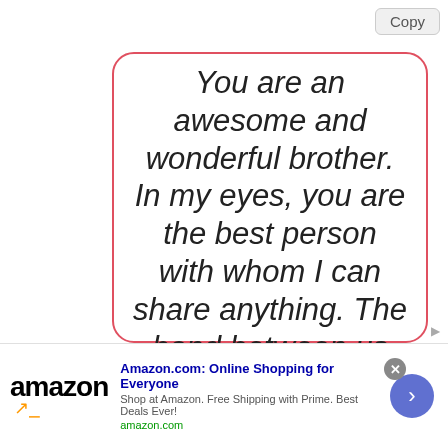Copy
You are an awesome and wonderful brother. In my eyes, you are the best person with whom I can share anything. The bond between us will always be strong. Wishing you an extra amazing birthday
Amazon.com: Online Shopping for Everyone
Shop at Amazon. Free Shipping with Prime. Best Deals Ever!
amazon.com